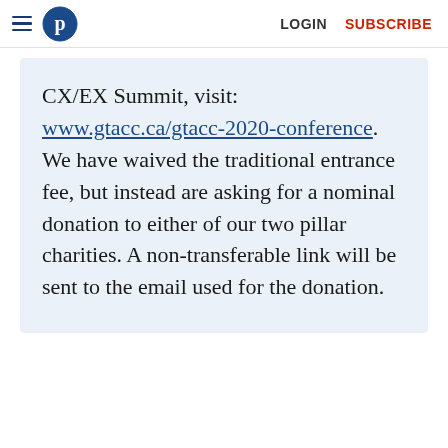LOGIN  SUBSCRIBE
CX/EX Summit, visit: www.gtacc.ca/gtacc-2020-conference. We have waived the traditional entrance fee, but instead are asking for a nominal donation to either of our two pillar charities. A non-transferable link will be sent to the email used for the donation.